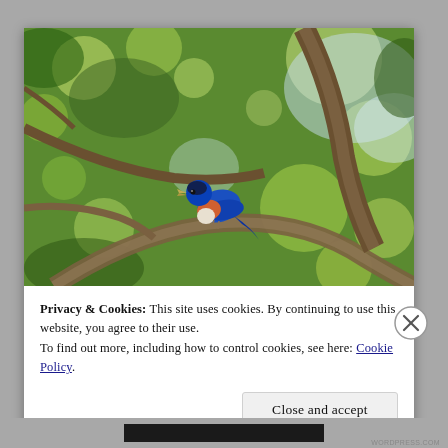[Figure (photo): A bluebird with blue plumage and orange-red breast perched on a tree branch with open beak, surrounded by green blurred foliage in the background.]
Privacy & Cookies: This site uses cookies. By continuing to use this website, you agree to their use.
To find out more, including how to control cookies, see here: Cookie Policy
Close and accept